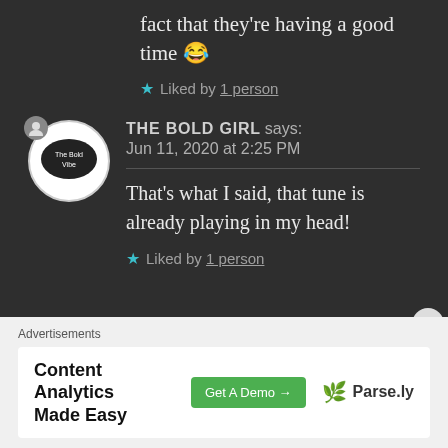fact that they're having a good time 😂
★ Liked by 1 person
THE BOLD GIRL says: Jun 11, 2020 at 2:25 PM
That's what I said, that tune is already playing in my head!
★ Liked by 1 person
Advertisements
Content Analytics Made Easy  Get A Demo →  🌿 Parse.ly